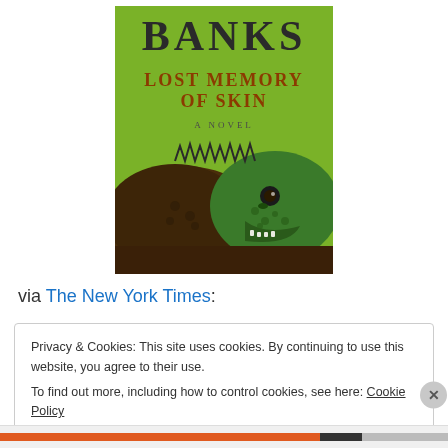[Figure (illustration): Book cover of 'Lost Memory of Skin' by Russell Banks. Green background with large text 'BANKS' at top, subtitle 'LOST MEMORY OF SKIN' in orange/brown text, 'A NOVEL' below it, and an iguana close-up photo at the bottom.]
via The New York Times:
Privacy & Cookies: This site uses cookies. By continuing to use this website, you agree to their use.
To find out more, including how to control cookies, see here: Cookie Policy